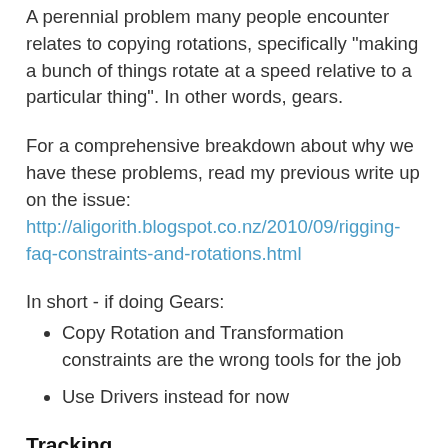A perennial problem many people encounter relates to copying rotations, specifically "making a bunch of things rotate at a speed relative to a particular thing". In other words, gears.
For a comprehensive breakdown about why we have these problems, read my previous write up on the issue: http://aligorith.blogspot.co.nz/2010/09/rigging-faq-constraints-and-rotations.html
In short - if doing Gears:
Copy Rotation and Transformation constraints are the wrong tools for the job
Use Drivers instead for now
Tracking
Another common rigging problem which arises is: "making something point at a target". For example, a gun turret following targets in a no fly zone, or for the "eye control" targets commonly seen in many rigs.